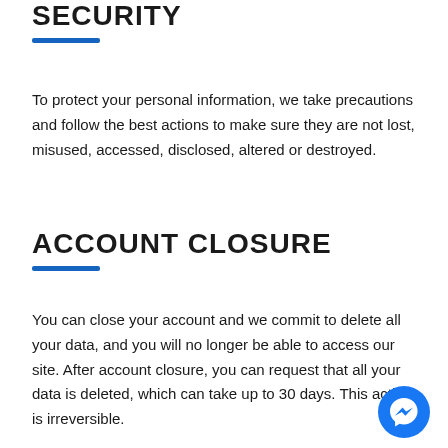SECURITY
To protect your personal information, we take precautions and follow the best actions to make sure they are not lost, misused, accessed, disclosed, altered or destroyed.
ACCOUNT CLOSURE
You can close your account and we commit to delete all your data, and you will no longer be able to access our site. After account closure, you can request that all your data is deleted, which can take up to 30 days. This action is irreversible.
[Figure (illustration): Blue circular Messenger chat button icon in bottom right corner]